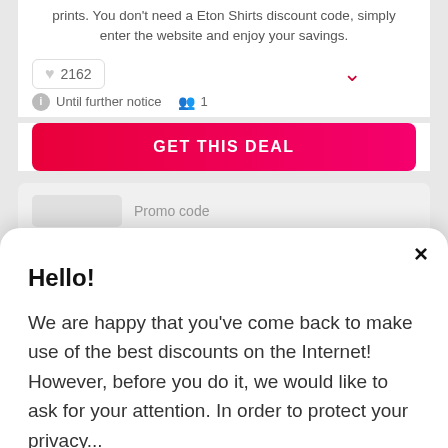prints. You don't need a Eton Shirts discount code, simply enter the website and enjoy your savings.
♥ 2162   Until further notice   👥 1
GET THIS DEAL
Promo code
Hello!
We are happy that you've come back to make use of the best discounts on the Internet! However, before you do it, we would like to ask for your attention. In order to protect your privacy...
... READ MORE